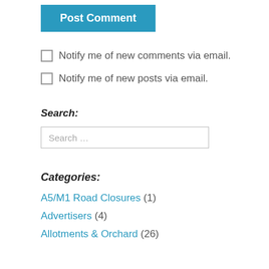Post Comment
Notify me of new comments via email.
Notify me of new posts via email.
Search:
Search …
Categories:
A5/M1 Road Closures (1)
Advertisers (4)
Allotments & Orchard (26)